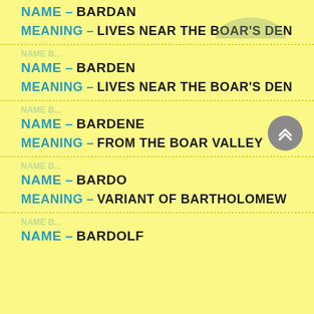NAME – BARDAN
MEANING – LIVES NEAR THE BOAR'S DEN
NAME – BARDEN
MEANING – LIVES NEAR THE BOAR'S DEN
NAME – BARDENE
MEANING – FROM THE BOAR VALLEY
NAME – BARDO
MEANING – VARIANT OF BARTHOLOMEW
NAME – BARDOLF